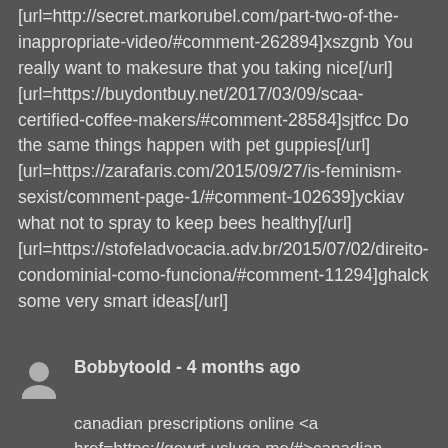[url=http://secret.markorubel.com/part-two-of-the-inappropriate-video/#comment-262894]xszgnb You really want to makesure that you taking nice[/url] [url=https://buydontbuy.net/2017/03/09/scaa-certified-coffee-makers/#comment-28584]sjtfcc Do the same things happen with pet guppies[/url] [url=https://zarafaris.com/2015/09/27/is-feminism-sexist/comment-page-1/#comment-102639]yckiav what not to spray to keep bees healthy[/url] [url=https://stofeladvocacia.adv.br/2015/07/02/direito-condominial-como-funciona/#comment-11294]ghalck some very smart ideas[/url]
Bobbytoold - 4 months ago
canadian prescriptions online <a href=https://gewrt.usluga.me/#>canadian pharmacy king </a>

pharmacies in canada <a href="https://sekyuna.gonevis.com/three-step-guidelines-